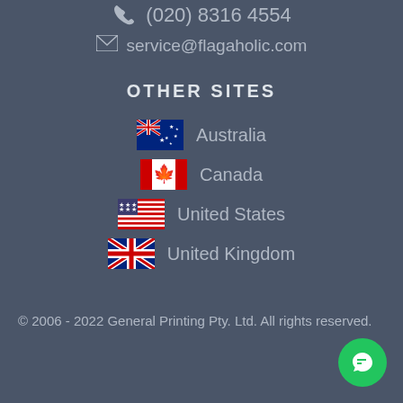(020) 8316 4554
service@flagaholic.com
OTHER SITES
🇦🇺 Australia
🇨🇦 Canada
🇺🇸 United States
🇬🇧 United Kingdom
© 2006 - 2022 General Printing Pty. Ltd. All rights reserved.